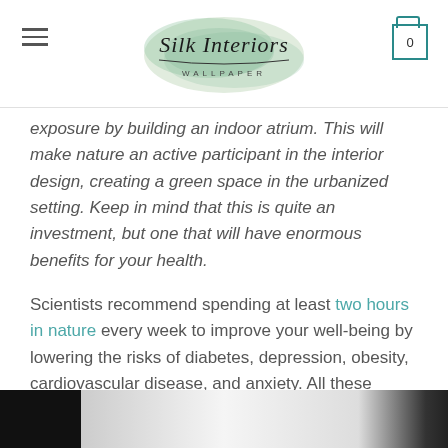Silk Interiors Wallpaper
exposure by building an indoor atrium. This will make nature an active participant in the interior design, creating a green space in the urbanized setting. Keep in mind that this is quite an investment, but one that will have enormous benefits for your health.
Scientists recommend spending at least two hours in nature every week to improve your well-being by lowering the risks of diabetes, depression, obesity, cardiovascular disease, and anxiety. All these conditions come from stress, so investing in an atrium with natural light, water, plants, and fresh air can bring benefits in the long run.
Lastly
[Figure (photo): Bottom portion of a photo showing an interior space, partially visible at the bottom of the page.]